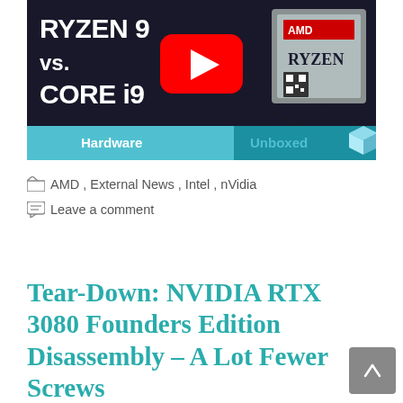[Figure (screenshot): YouTube video thumbnail for 'Ryzen 9 vs. Core i9' by Hardware Unboxed channel. Dark background with white bold text 'RYZEN 9 vs. CORE i9', a red YouTube play button in the center, an AMD Ryzen CPU chip on the right, and a blue/teal bottom bar with 'Hardware Unboxed' branding and a cube icon.]
AMD, External News, Intel, nVidia
Leave a comment
Tear-Down: NVIDIA RTX 3080 Founders Edition Disassembly – A Lot Fewer Screws